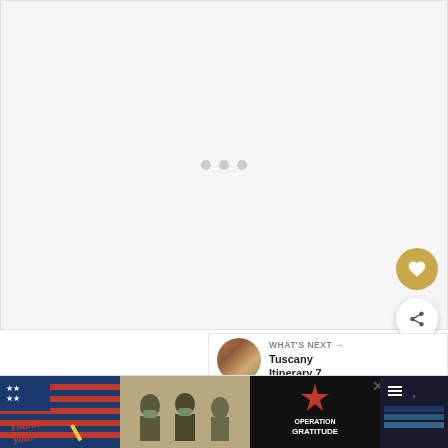[Figure (photo): Loading placeholder with three gray dots on a light gray background, representing an image that is loading.]
The palace is located on the Quirinal Hill,
[Figure (screenshot): Advertisement banner at the bottom of the page for Operation Gratitude, showing a 'Thank you!' handwritten note with American flag, soldiers in military gear, and Operation Gratitude logo on dark background. An X close button and weather widget are also visible.]